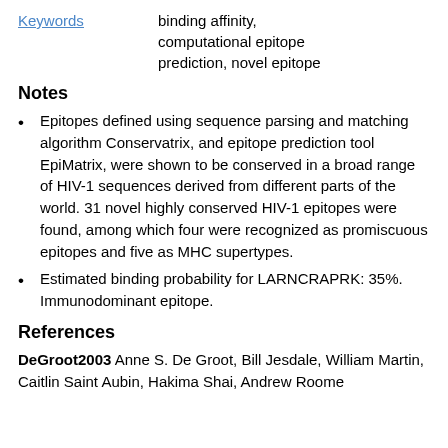binding affinity, computational epitope prediction, novel epitope
Keywords
Notes
Epitopes defined using sequence parsing and matching algorithm Conservatrix, and epitope prediction tool EpiMatrix, were shown to be conserved in a broad range of HIV-1 sequences derived from different parts of the world. 31 novel highly conserved HIV-1 epitopes were found, among which four were recognized as promiscuous epitopes and five as MHC supertypes.
Estimated binding probability for LARNCRAPRK: 35%. Immunodominant epitope.
References
DeGroot2003 Anne S. De Groot, Bill Jesdale, William Martin, Caitlin Saint Aubin, Hakima Shai, Andrew Roome